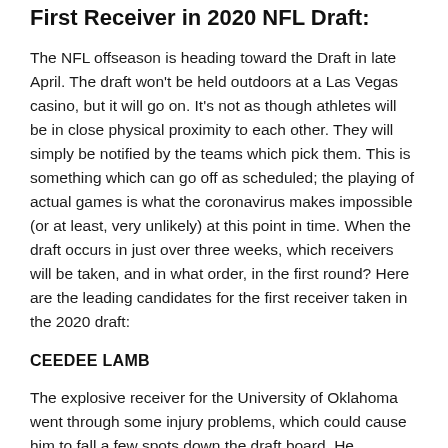First Receiver in 2020 NFL Draft:
The NFL offseason is heading toward the Draft in late April. The draft won't be held outdoors at a Las Vegas casino, but it will go on. It's not as though athletes will be in close physical proximity to each other. They will simply be notified by the teams which pick them. This is something which can go off as scheduled; the playing of actual games is what the coronavirus makes impossible (or at least, very unlikely) at this point in time. When the draft occurs in just over three weeks, which receivers will be taken, and in what order, in the first round? Here are the leading candidates for the first receiver taken in the 2020 draft:
CEEDEE LAMB
The explosive receiver for the University of Oklahoma went through some injury problems, which could cause him to fall a few spots down the draft board. He